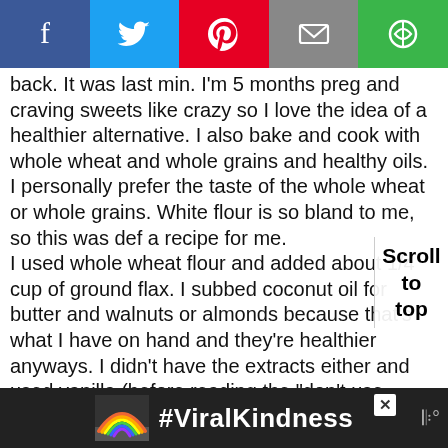[Figure (other): Social media share bar with Facebook, Twitter, Pinterest, Email, and another share button icons]
back. It was last min. I'm 5 months preg and craving sweets like crazy so I love the idea of a healthier alternative. I also bake and cook with whole wheat and whole grains and healthy oils. I personally prefer the taste of the whole wheat or whole grains. White flour is so bland to me, so this was def a recipe for me.
I used whole wheat flour and added about 1/4 cup of ground flax. I subbed coconut oil for butter and walnuts or almonds because that's what I have on hand and they're healthier anyways. I didn't have the extracts either and used vanilla (before reading the "don't use vanilla" lol).
The cookies came out great. They weren't too sweet, which we like and had a nice flavor due to the mix of maple syrup and almond butter. They had a nice texture t
[Figure (other): Advertisement banner with rainbow illustration and #ViralKindness text on dark background]